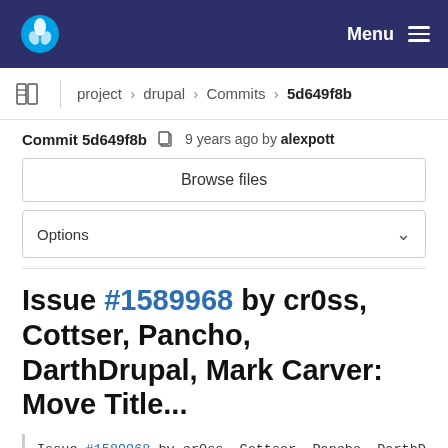Menu
project > drupal > Commits > 5d649f8b
Commit 5d649f8b  9 years ago by alexpott
Browse files
Options
Issue #1589968 by cr0ss, Cottser, Pancho, DarthDrupal, Mark Carver: Move Title...
Issue #1589968 by cr0ss, Cottser, Pancho, DarthDrupa
parent 4e1c0fed